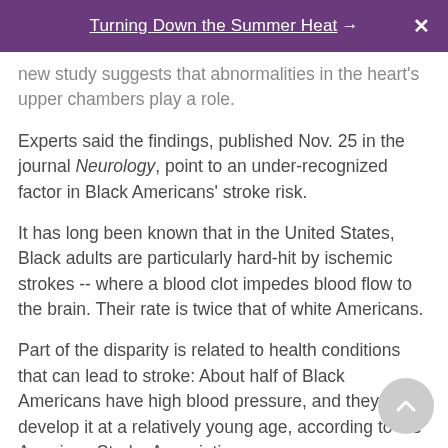Turning Down the Summer Heat →
new study suggests that abnormalities in the heart's upper chambers play a role.
Experts said the findings, published Nov. 25 in the journal Neurology, point to an under-recognized factor in Black Americans' stroke risk.
It has long been known that in the United States, Black adults are particularly hard-hit by ischemic strokes -- where a blood clot impedes blood flow to the brain. Their rate is twice that of white Americans.
Part of the disparity is related to health conditions that can lead to stroke: About half of Black Americans have high blood pressure, and they often develop it at a relatively young age, according to the American Stroke Association.